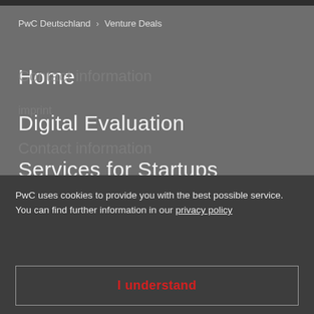PwC Deutschland > Venture Deals
Home
Digital Evaluation
Services for Startups
PwC uses cookies to provide you with the best possible service. You can find further information in our privacy policy
I understand